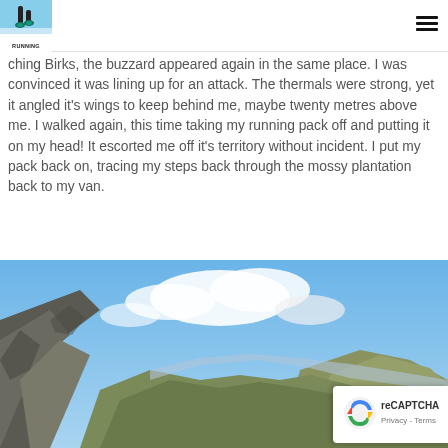Trail Running logo and navigation
[Figure (photo): Banner photo strip showing foliage/nature background behind the Trail Running logo header]
ching Birks, the buzzard appeared again in the same place. I was convinced it was lining up for an attack. The thermals were strong, yet it angled it's wings to keep behind me, maybe twenty metres above me. I walked again, this time taking my running pack off and putting it on my head! It escorted me off it's territory without incident. I put my pack back on, tracing my steps back through the mossy plantation back to my van.
[Figure (photo): Mountain valley landscape photograph showing rocky hillsides, green slopes, blue sky with white clouds]